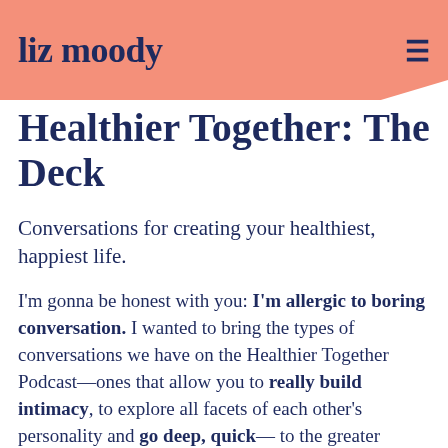liz moody
Healthier Together: The Deck
Conversations for creating your healthiest, happiest life.
I'm gonna be honest with you: I'm allergic to boring conversation. I wanted to bring the types of conversations we have on the Healthier Together Podcast—ones that allow you to really build intimacy, to explore all facets of each other's personality and go deep, quick— to the greater Healthier Together community.
With 6 categories and over 150 unique cards